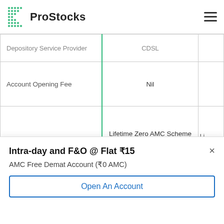ProStocks
|  | Column 1 | Column 2 |
| --- | --- | --- |
| Depository Service Provider | CDSL | Li... |
| Account Opening Fee | Nil |  |
| Advance Deposite | Lifetime Zero AMC Scheme - ₹1000 onetime refundable deposit | or... |
|  |  |  |
Intra-day and F&O @ Flat ₹15
AMC Free Demat Account (₹0 AMC)
Open An Account